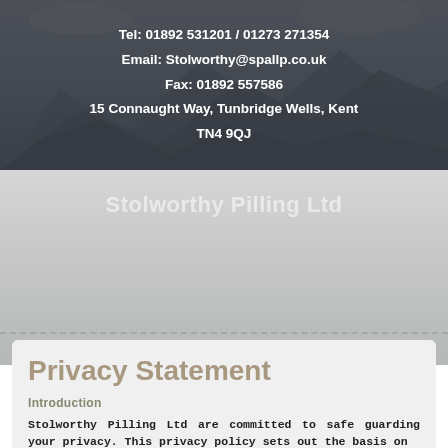[Figure (illustration): Mountain landscape background with dark overlay banner showing contact information]
Tel: 01892 531201 / 01273 271354
Email: Stolworthy@spallp.co.uk
Fax: 01892 557586
15 Connaught Way, Tunbridge Wells, Kent
TN4 9QJ
Stolworthy Pilling Ltd
Privacy Statement
Introduction
Stolworthy Pilling Ltd are committed to safe guarding your privacy. This privacy policy sets out the basis on